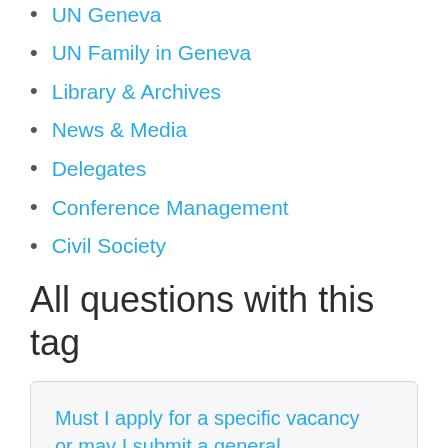UN Geneva
UN Family in Geneva
Library & Archives
News & Media
Delegates
Conference Management
Civil Society
All questions with this tag
Must I apply for a specific vacancy or may I submit a general application for any future openings that may arise?
Must I submit my application on-line?
I applied to a vacancy announcement